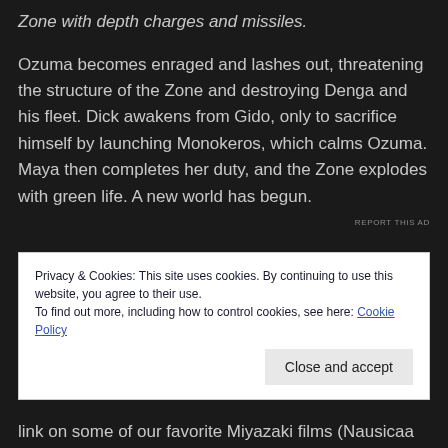Zone with depth charges and missiles.
Ozuma becomes enraged and lashes out, threatening the structure of the Zone and destroying Denga and his fleet. Dick awakens from Gido, only to sacrifice himself by launching Monokeros, which calms Ozuma. Maya then completes her duty, and the Zone explodes with green life. A new world has begun.
REPORT THIS AD
Privacy & Cookies: This site uses cookies. By continuing to use this website, you agree to their use.
To find out more, including how to control cookies, see here: Cookie Policy
Close and accept
link on some of our favorite Miyazaki films (Nausicaa